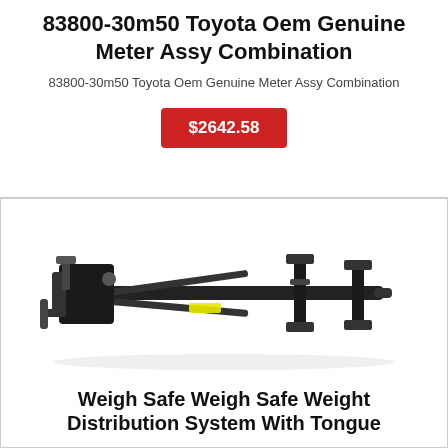83800-30m50 Toyota Oem Genuine Meter Assy Combination
83800-30m50 Toyota Oem Genuine Meter Assy Combination
$2642.58
[Figure (photo): A weight distribution hitch system with spring bars and head assembly, black metal construction, on white background]
Weigh Safe Weigh Safe Weight Distribution System With Tongue